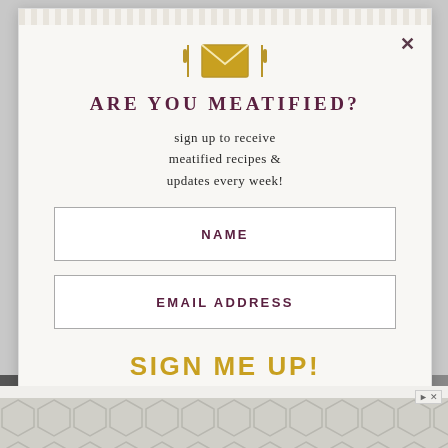[Figure (screenshot): Email signup modal for Meatified food blog with envelope icon, name and email fields, and sign me up button]
ARE YOU MEATIFIED?
sign up to receive meatified recipes & updates every week!
NAME
EMAIL ADDRESS
SIGN ME UP!
[Figure (infographic): Gray geometric hexagon pattern advertisement strip at the bottom of the page]